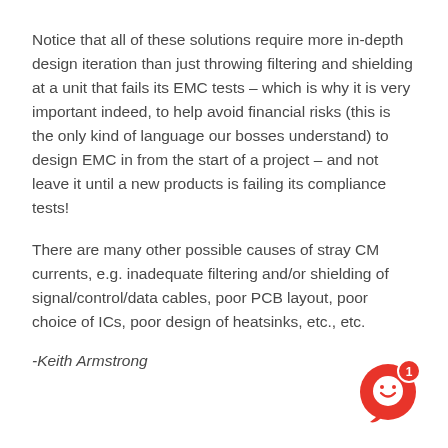Notice that all of these solutions require more in-depth design iteration than just throwing filtering and shielding at a unit that fails its EMC tests – which is why it is very important indeed, to help avoid financial risks (this is the only kind of language our bosses understand) to design EMC in from the start of a project – and not leave it until a new products is failing its compliance tests!
There are many other possible causes of stray CM currents, e.g. inadequate filtering and/or shielding of signal/control/data cables, poor PCB layout, poor choice of ICs, poor design of heatsinks, etc., etc.
-Keith Armstrong
[Figure (illustration): Red circular chat/support widget icon with a smiley face and a red badge showing the number 1, positioned in the bottom-right corner.]